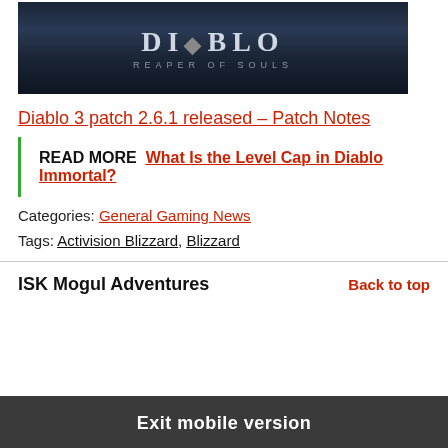[Figure (photo): Diablo III Reaper of Souls promotional banner image with dark atmospheric background and logo text]
Diablo 3 patch 2.6.1 released – Patch Notes
READ MORE  What Is the Level Cap in Diablo Immortal?
Categories: General Gaming News
Tags: Activision Blizzard, Blizzard
ISK Mogul Adventures
Back to top
Exit mobile version